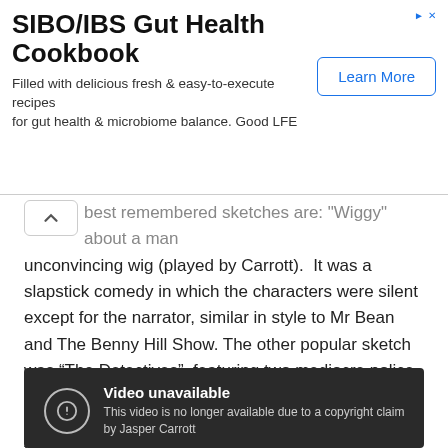[Figure (other): Advertisement banner for SIBO/IBS Gut Health Cookbook with a 'Learn More' button]
best remembered sketches are: "Wiggy" about a man unconvincing wig (played by Carrott). It was a slapstick comedy in which the characters were silent except for the narrator, similar in style to Mr Bean and The Benny Hill Show. The other popular sketch was “The Detectives”, featuring two mediocre police officers, Briggs and Louis (played by Carrott and Robert Powell, who try, unsuccessfully, to emulate the actions of television detectives.
Clips
[Figure (screenshot): Video player showing 'Video unavailable - This video is no longer available due to a copyright claim by Jasper Carrott']